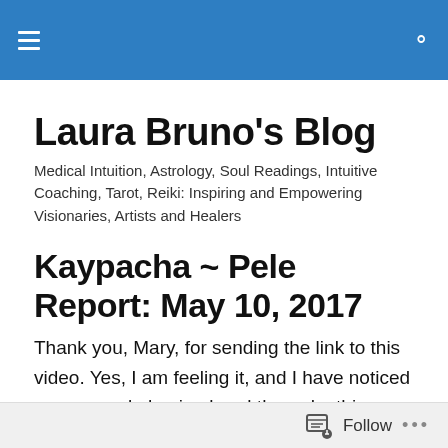Laura Bruno's Blog — navigation header
Laura Bruno's Blog
Medical Intuition, Astrology, Soul Readings, Intuitive Coaching, Tarot, Reiki: Inspiring and Empowering Visionaries, Artists and Healers
Kaypacha ~ Pele Report: May 10, 2017
Thank you, Mary, for sending the link to this video. Yes, I am feeling it, and I have noticed many people having breakthroughs this week. I've also noticed a surge of creativity in my own life. I had attributed it to clearing out
Follow